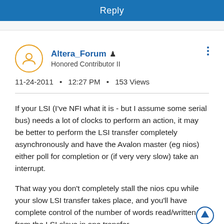Reply
Altera_Forum ♟ Honored Contributor II
11-24-2011 • 12:27 PM • 153 Views
If your LSI (I've NFI what it is - but I assume some serial bus) needs a lot of clocks to perform an action, it may be better to perform the LSI transfer completely asynchronously and have the Avalon master (eg nios) either poll for completion or (if very very slow) take an interrupt.
That way you don't completely stall the nios cpu while your slow LSI transfer takes place, and you'll have complete control of the number of words read/written from the LSI slave in one transfer.